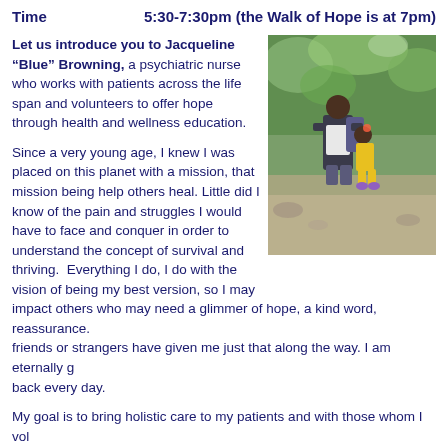Time     5:30-7:30pm (the Walk of Hope is at 7pm)
Let us introduce you to Jacqueline “Blue” Browning, a psychiatric nurse who works with patients across the life span and volunteers to offer hope through health and wellness education.
[Figure (photo): Photo of a woman kneeling with children outdoors in a wooded/park setting]
Since a very young age, I knew I was placed on this planet with a mission, that mission being help others heal. Little did I know of the pain and struggles I would have to face and conquer in order to understand the concept of survival and thriving.  Everything I do, I do with the vision of being my best version, so I may impact others who may need a glimmer of hope, a kind word, reassurance. friends or strangers have given me just that along the way. I am eternally g back every day.
My goal is to bring holistic care to my patients and with those whom I vol living breathing planet and we are all connected. My hope is to have peopl that they may connect with others. Connection is what makes us strong. To